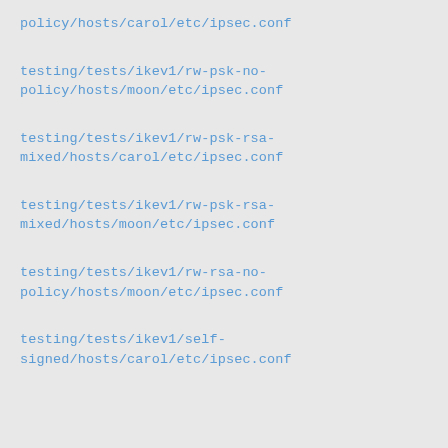policy/hosts/carol/etc/ipsec.conf
testing/tests/ikev1/rw-psk-no-policy/hosts/moon/etc/ipsec.conf
testing/tests/ikev1/rw-psk-rsa-mixed/hosts/carol/etc/ipsec.conf
testing/tests/ikev1/rw-psk-rsa-mixed/hosts/moon/etc/ipsec.conf
testing/tests/ikev1/rw-rsa-no-policy/hosts/moon/etc/ipsec.conf
testing/tests/ikev1/self-signed/hosts/carol/etc/ipsec.conf